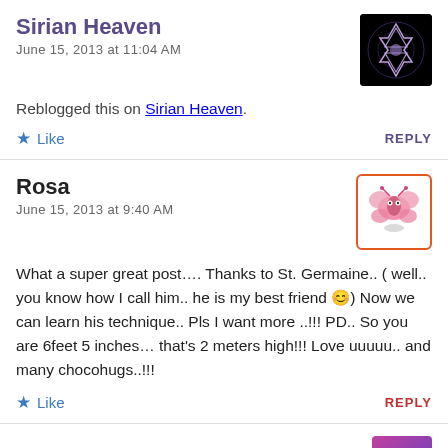Sirian Heaven
June 15, 2013 at 11:04 AM
Reblogged this on Sirian Heaven.
Like   REPLY
Rosa
June 15, 2013 at 9:40 AM
What a super great post…. Thanks to St. Germaine.. ( well.. you know how I call him.. he is my best friend 😊) Now we can learn his technique.. Pls I want more ..!!! PD.. So you are 6feet 5 inches… that's 2 meters high!!! Love uuuuu.. and many chocohugs..!!!
Like   REPLY
Andy Bojarski